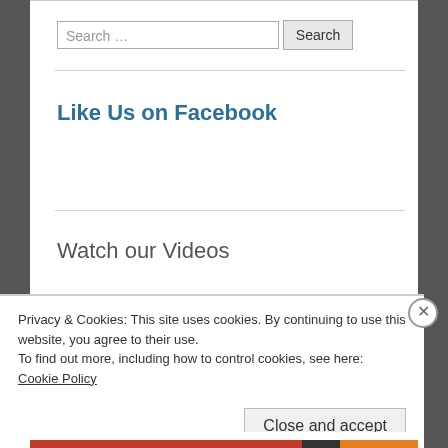Search …
Like Us on Facebook
Watch our Videos
Privacy & Cookies: This site uses cookies. By continuing to use this website, you agree to their use.
To find out more, including how to control cookies, see here: Cookie Policy
Close and accept